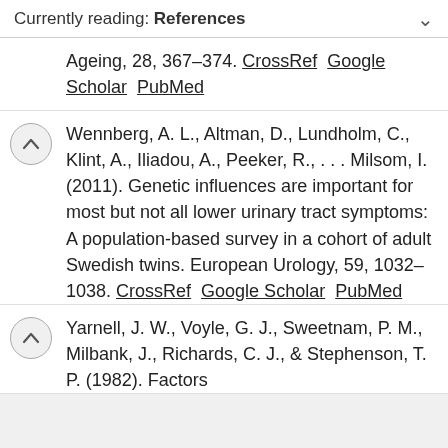Currently reading: References
Ageing, 28, 367–374. CrossRef Google Scholar PubMed
Wennberg, A. L., Altman, D., Lundholm, C., Klint, A., Iliadou, A., Peeker, R., . . . Milsom, I. (2011). Genetic influences are important for most but not all lower urinary tract symptoms: A population-based survey in a cohort of adult Swedish twins. European Urology, 59, 1032–1038. CrossRef Google Scholar PubMed
Yarnell, J. W., Voyle, G. J., Sweetnam, P. M., Milbank, J., Richards, C. J., & Stephenson, T. P. (1982). Factors